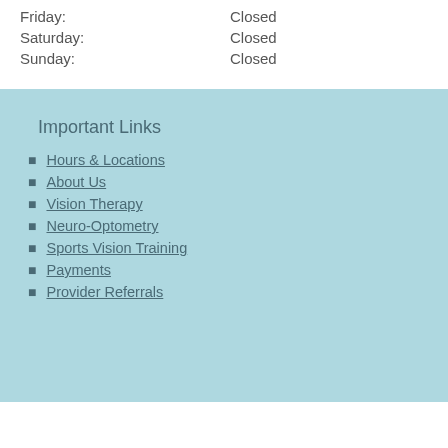Friday: Closed
Saturday: Closed
Sunday: Closed
Important Links
Hours & Locations
About Us
Vision Therapy
Neuro-Optometry
Sports Vision Training
Payments
Provider Referrals